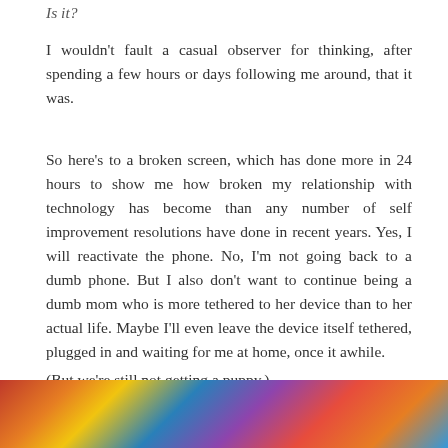Is it?
I wouldn't fault a casual observer for thinking, after spending a few hours or days following me around, that it was.
So here's to a broken screen, which has done more in 24 hours to show me how broken my relationship with technology has become than any number of self improvement resolutions have done in recent years. Yes, I will reactivate the phone. No, I'm not going back to a dumb phone. But I also don't want to continue being a dumb mom who is more tethered to her device than to her actual life. Maybe I'll even leave the device itself tethered, plugged in and waiting for me at home, once it awhile.
(But we're still not getting a puppy.)
[Figure (photo): Colorful photo partially visible at the bottom of the page, showing bright colors including red, orange, yellow, and blue.]